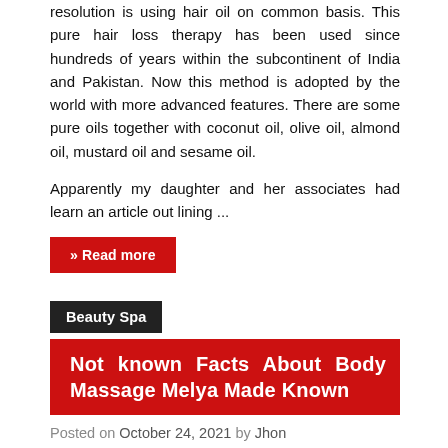resolution is using hair oil on common basis. This pure hair loss therapy has been used since hundreds of years within the subcontinent of India and Pakistan. Now this method is adopted by the world with more advanced features. There are some pure oils together with coconut oil, olive oil, almond oil, mustard oil and sesame oil.
Apparently my daughter and her associates had learn an article out lining ...
» Read more
Beauty Spa
Not known Facts About Body Massage Melya Made Known
Posted on October 24, 2021 by Jhon
[Figure (photo): Partial image strip showing two photos side by side at the bottom of the page]